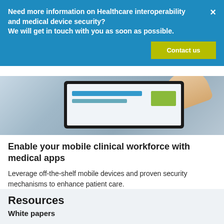Need more information on Healthcare interoperability and medical device security?
We will get in touch with you as soon as possible.
Contact us
[Figure (photo): Person using a tablet device showing a medical interface with progress bars and status indicators]
Enable your mobile clinical workforce with medical apps
Leverage off-the-shelf mobile devices and proven security mechanisms to enhance patient care.
Read more
Resources
White papers